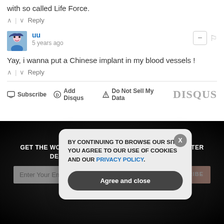with so called Life Force.
^ | v  Reply
uu
5 years ago
Yay, i wanna put a Chinese implant in my blood vessels !
^ | v  Reply
Subscribe  Add Disqus  Do Not Sell My Data  DISQUS
GET THE WORLD'S BEST NATURAL HEALTH NEWSLETTER DELIVERED STRAIGHT TO YOUR INBOX!
BY CONTINUING TO BROWSE OUR SITE YOU AGREE TO OUR USE OF COOKIES AND OUR PRIVACY POLICY.
Agree and close